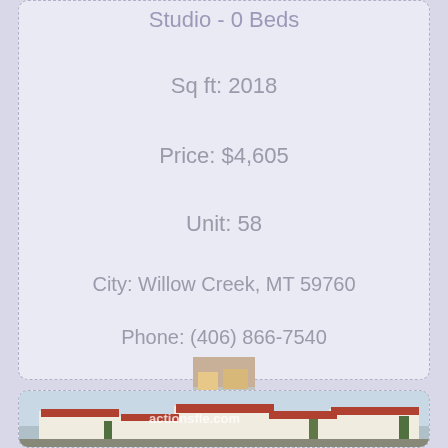Studio - 0 Beds
Sq ft: 2018
Price: $4,605
Unit: 58
City: Willow Creek, MT 59760
Phone: (406) 866-7540
[Figure (photo): Small thumbnail photo of a property/pool area]
[Figure (photo): Property exterior photo showing white/cream building with red tile roof, actionsfle.com watermark]